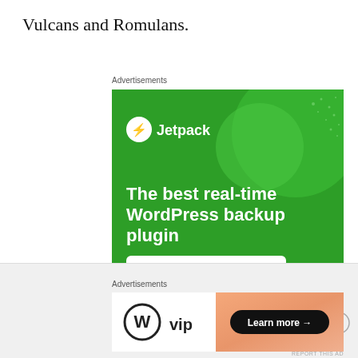Vulcans and Romulans.
Advertisements
[Figure (other): Jetpack WordPress backup plugin advertisement on green background with circle motif. Text reads: Jetpack logo, 'The best real-time WordPress backup plugin', and a white button 'Back up your site'.]
REPORT THIS AD
Advertisements
[Figure (other): WordPress VIP advertisement. Left side shows WordPress VIP logo (W circle + vip text). Right side shows orange/peach gradient background with black pill button reading 'Learn more →'.]